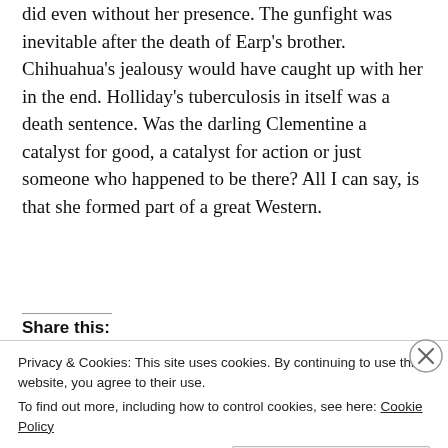did even without her presence. The gunfight was inevitable after the death of Earp's brother. Chihuahua's jealousy would have caught up with her in the end. Holliday's tuberculosis in itself was a death sentence. Was the darling Clementine a catalyst for good, a catalyst for action or just someone who happened to be there? All I can say, is that she formed part of a great Western.
Share this:
Privacy & Cookies: This site uses cookies. By continuing to use this website, you agree to their use. To find out more, including how to control cookies, see here: Cookie Policy